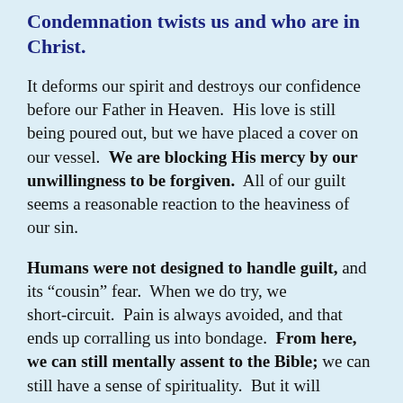Condemnation twists us and who are in Christ.
It deforms our spirit and destroys our confidence before our Father in Heaven.  His love is still being poured out, but we have placed a cover on our vessel.  We are blocking His mercy by our unwillingness to be forgiven.  All of our guilt seems a reasonable reaction to the heaviness of our sin.
Humans were not designed to handle guilt, and its “cousin” fear.  When we do try, we short-circuit.  Pain is always avoided, and that ends up corralling us into bondage.  From here, we can still mentally assent to the Bible; we can still have a sense of spirituality.  But it will